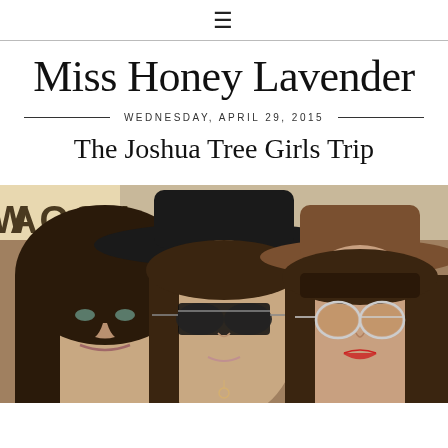≡
Miss Honey Lavender
WEDNESDAY, APRIL 29, 2015
The Joshua Tree Girls Trip
[Figure (photo): Three young women wearing wide-brim hats and sunglasses, photographed from shoulders up outdoors. A sign partially reading 'WAGON' is visible in the background. Left: brunette with dark wavy hair and no sunglasses. Center: brunette with wavy hair wearing dark aviator sunglasses and a black hat. Right: brunette with bangs wearing round sunglasses and a brown hat.]